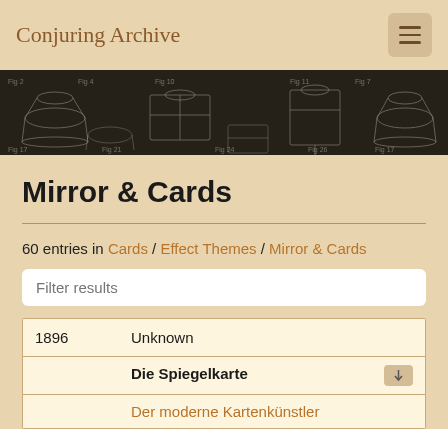Conjuring Archive
[Figure (illustration): Dark banner with white line-art diagrams of magic apparatus and conjuring devices on a dark background]
Mirror & Cards
60 entries in Cards / Effect Themes / Mirror & Cards
| Year | Author/Title/Source |
| --- | --- |
| 1896 | Unknown |
|  | Die Spiegelkarte |
|  | Der moderne Kartenkünstler |